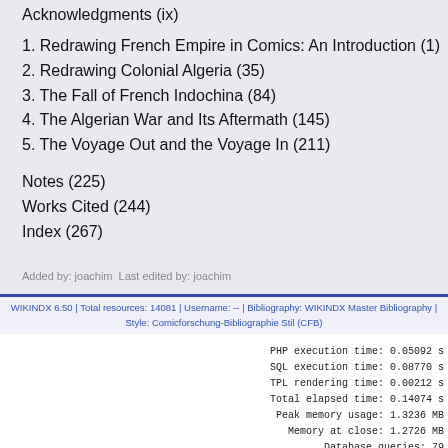Acknowledgments (ix)
1. Redrawing French Empire in Comics: An Introduction (1)
2. Redrawing Colonial Algeria (35)
3. The Fall of French Indochina (84)
4. The Algerian War and Its Aftermath (145)
5. The Voyage Out and the Voyage In (211)
Notes (225)
Works Cited (244)
Index (267)
Added by: joachim  Last edited by: joachim
WIKINDX 6.50 | Total resources: 14081 | Username: -- | Bibliography: WIKINDX Master Bibliography | Style: Comicforschung-Bibliographie Stil (CFB)
PHP execution time: 0.05092 s
SQL execution time: 0.08770 s
TPL rendering time: 0.00212 s
Total elapsed time: 0.14074 s
Peak memory usage: 1.3236 MB
Memory at close: 1.2726 MB
Database queries: 79